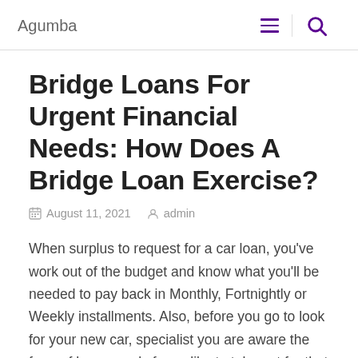Agumba
Bridge Loans For Urgent Financial Needs: How Does A Bridge Loan Exercise?
August 11, 2021   admin
When surplus to request for a car loan, you've work out of the budget and know what you'll be needed to pay back in Monthly, Fortnightly or Weekly installments. Also, before you go to look for your new car, specialist you are aware the form of loan merely fewer like to take out for that car. Get yourself a loan that comes with affordable interest rates, low fees and